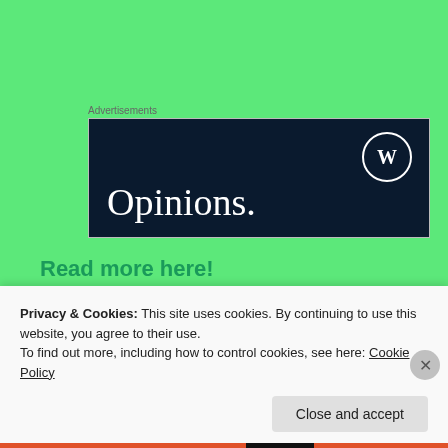Advertisements
[Figure (screenshot): WordPress advertisement banner with dark navy background, WordPress logo (W in circle) in top right, and 'Opinions.' text in white serif font at bottom left]
Read more here!
Privacy & Cookies: This site uses cookies. By continuing to use this website, you agree to their use.
To find out more, including how to control cookies, see here: Cookie Policy
Close and accept